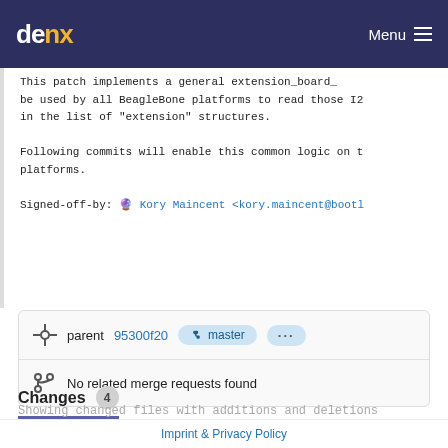denx Menu
This patch implements a general extension_board_ be used by all BeagleBone platforms to read those I2 in the list of "extension" structures.

Following commits will enable this common logic on t platforms.

Signed-off-by: Kory Maincent <kory.maincent@bootl
parent 95300f20  master  ...
No related merge requests found
Changes 4
Showing changed files with additions and deletions
Imprint & Privacy Policy